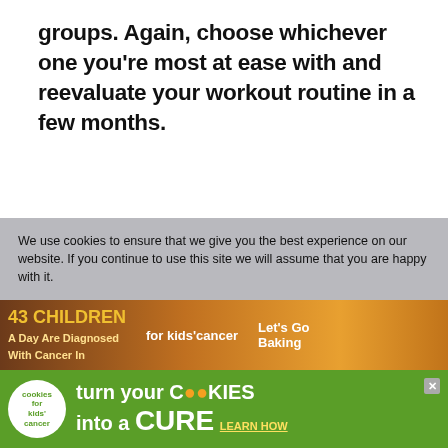groups. Again, choose whichever one you're most at ease with and reevaluate your workout routine in a few months.
Key Things To Remember For Burning Calories And Weight Loss
We use cookies to ensure that we give you the best experience on our website. If you continue to use this site we will assume that you are happy with it.
[Figure (infographic): Advertisement banner: children's cancer charity cookies ad with text '43 CHILDREN A Day Are Diagnosed With Cancer In' and 'Let's Go Baking' over a brown/orange cookie background image]
[Figure (infographic): Advertisement banner at bottom: green background with cookies for kids cancer logo, text 'turn your COOKIES into a CURE LEARN HOW']